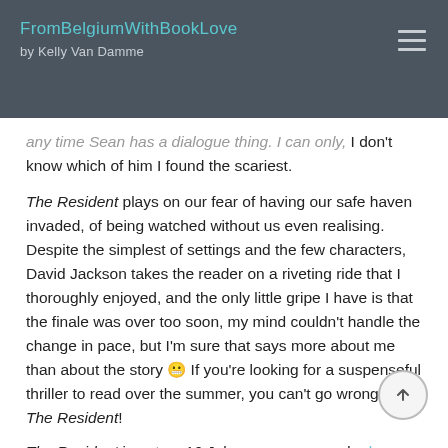FromBelgiumWithBookLove by Kelly Van Damme
any time Sean has a dialogue thing. I can only, I don't know which of him I found the scariest.
The Resident plays on our fear of having our safe haven invaded, of being watched without us even realising. Despite the simplest of settings and the few characters, David Jackson takes the reader on a riveting ride that I thoroughly enjoyed, and the only little gripe I have is that the finale was over too soon, my mind couldn't handle the change in pace, but I'm sure that says more about me than about the story 😬 If you're looking for a suspenseful thriller to read over the summer, you can't go wrong with The Resident!
The Resident is out on 16 July, you can pre-order here  Huge thanks to Viper Books and NetGalley